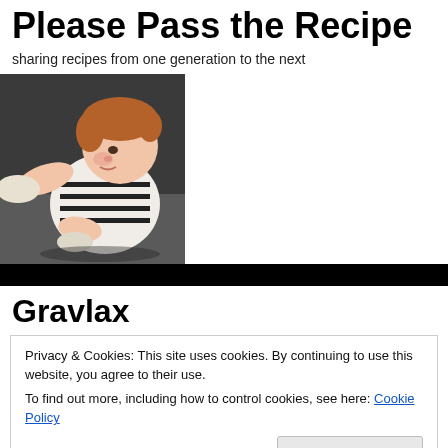Please Pass the Recipe
sharing recipes from one generation to the next
[Figure (illustration): Cartoon-style illustration of a young child with reddish-brown hair kneading or playing with dough on a dark surface, wearing a white and black striped outfit.]
Gravlax
Privacy & Cookies: This site uses cookies. By continuing to use this website, you agree to their use.
To find out more, including how to control cookies, see here: Cookie Policy
Close and accept
[Figure (photo): Partial view of a food photo, appearing to show a plated dish, partially visible at the bottom of the page.]